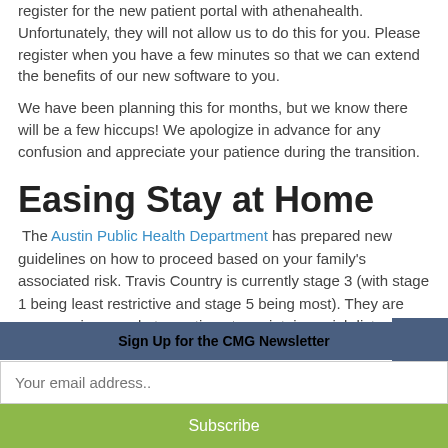register for the new patient portal with athenahealth. Unfortunately, they will not allow us to do this for you. Please register when you have a few minutes so that we can extend the benefits of our new software to you.
We have been planning this for months, but we know there will be a few hiccups! We apologize in advance for any confusion and appreciate your patience during the transition.
Easing Stay at Home
The Austin Public Health Department has prepared new guidelines on how to proceed based on your family's associated risk. Travis Country is currently stage 3 (with stage 1 being least restrictive and stage 5 being most). They are encouraging people to continue to maintain social distancing and wear facial coverings in public, along with washing ha
Sign Up for the CMG Newsletter
Your email address..
Subscribe